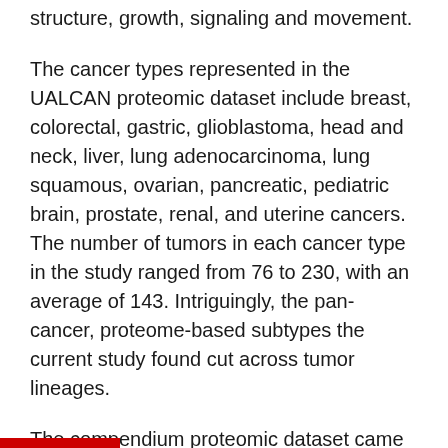structure, growth, signaling and movement.
The cancer types represented in the UALCAN proteomic dataset include breast, colorectal, gastric, glioblastoma, head and neck, liver, lung adenocarcinoma, lung squamous, ovarian, pancreatic, pediatric brain, prostate, renal, and uterine cancers. The number of tumors in each cancer type in the study ranged from 76 to 230, with an average of 143. Intriguingly, the pan-cancer, proteome-based subtypes the current study found cut across tumor lineages.
The compendium proteomic dataset came from 17 individual studies. Corresponding multi-omics data were available for most of these tumors, including mRNA levels, DNA somatic small mutations and insertions/deletions, and DNA somatic copy number alterations.